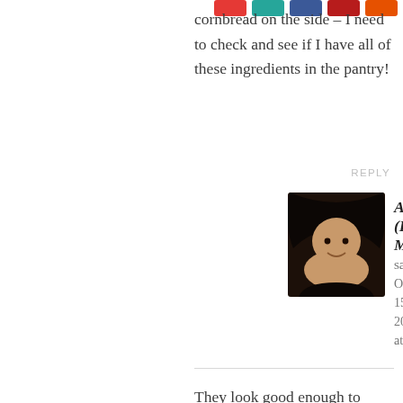cornbread on the side – I need to check and see if I have all of these ingredients in the pantry!
REPLY
[Figure (photo): Avatar photo of Alyssa (Everyday Maven), a woman with dark hair smiling]
Alyssa (Everyday Maven) says: October 15, 2012 at
They look good enough to gobble up without sharing. :)
REPLY
[Figure (photo): Generic avatar placeholder silhouette for Debra]
Debra says: October 15, 2012 at
Delish! It reminds me of the cornbread they served with honey-butter growing up. Only